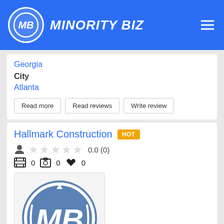MINORITY BIZ
Georgia
City
Atlanta
Read more
Read reviews
Write review
Hallmark Construction HOT
0.0 (0)
0  0  0
[Figure (logo): Minority Biz logo — circular blue emblem with stylized MB letters and arrows on white background]
Category: